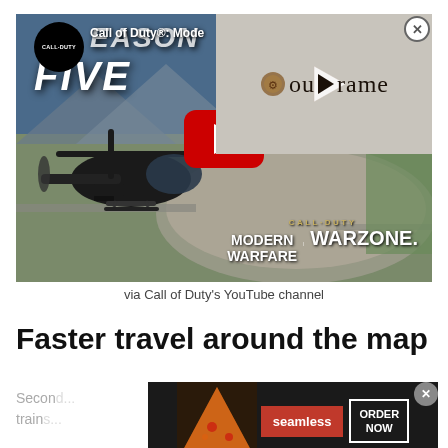[Figure (screenshot): Call of Duty Modern Warfare Warzone Season Five YouTube video thumbnail with helicopter flying over stadium map, overlaid with Soulframe channel thumbnail and YouTube play button]
via Call of Duty's YouTube channel
Faster travel around the map
Secon...go trains...
[Figure (screenshot): Seamless food delivery advertisement banner with pizza image, seamless logo button, and ORDER NOW button]